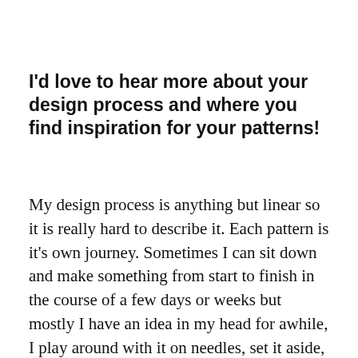I'd love to hear more about your design process and where you find inspiration for your patterns!
My design process is anything but linear so it is really hard to describe it. Each pattern is it's own journey. Sometimes I can sit down and make something from start to finish in the course of a few days or weeks but mostly I have an idea in my head for awhile, I play around with it on needles, set it aside, forget about it, pick it back up again, start something else, come back and frog it, re start it and start over. I've tried to sketch out